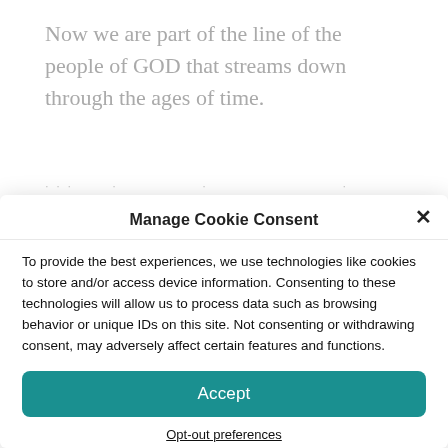Now we are part of the line of the people of GOD that streams down through the ages of time.
Manage Cookie Consent
To provide the best experiences, we use technologies like cookies to store and/or access device information. Consenting to these technologies will allow us to process data such as browsing behavior or unique IDs on this site. Not consenting or withdrawing consent, may adversely affect certain features and functions.
Accept
Opt-out preferences